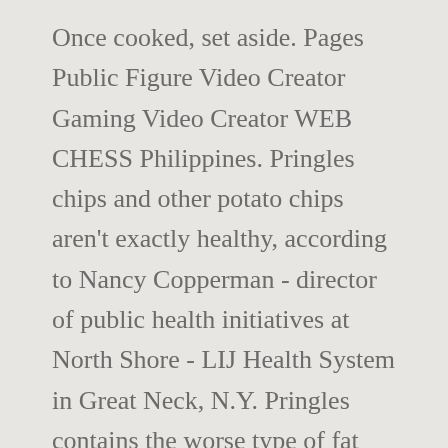Once cooked, set aside. Pages Public Figure Video Creator Gaming Video Creator WEB CHESS Philippines. Pringles chips and other potato chips aren't exactly healthy, according to Nancy Copperman - director of public health initiatives at North Shore - LIJ Health System in Great Neck, N.Y. Pringles contains the worse type of fat that is 2.5 times more saturated. Swiss Valley Cream Cheese 1361g. Add a pinch of salt to the water and let it cook through. Page created - September 30, 2012. Stir in the Kit Kat chunks and pour the final concoction into a pan. share. Pure and creamy unsalted butter freshly made from excellent quali.. 180g Nestle Bakers Choice Dark Chocolate Chunks. 1 block (170g) Kit Kat Dark